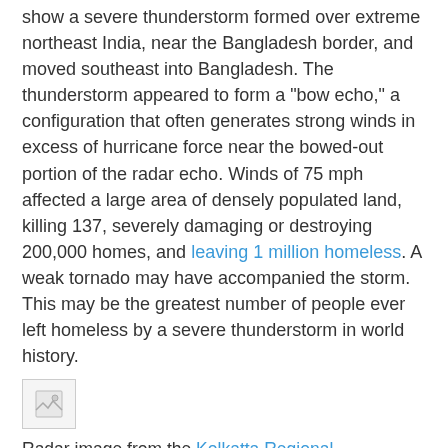show a severe thunderstorm formed over extreme northeast India, near the Bangladesh border, and moved southeast into Bangladesh. The thunderstorm appeared to form a "bow echo," a configuration that often generates strong winds in excess of hurricane force near the bowed-out portion of the radar echo. Winds of 75 mph affected a large area of densely populated land, killing 137, severely damaging or destroying 200,000 homes, and leaving 1 million homeless. A weak tornado may have accompanied the storm. This may be the greatest number of people ever left homeless by a severe thunderstorm in world history.
[Figure (photo): Broken image placeholder icon representing a radar image from the Kolkatta Regional Meteorological Centre]
Radar image from the Kolkatta Regional Meteorological Centre of the Indian Meteorological Department, showing the severe thunderstorm that killed 137 people and left 1 million homeless. Thanks go to Steve Nesbitt of UIUC for saving this image.
Link: